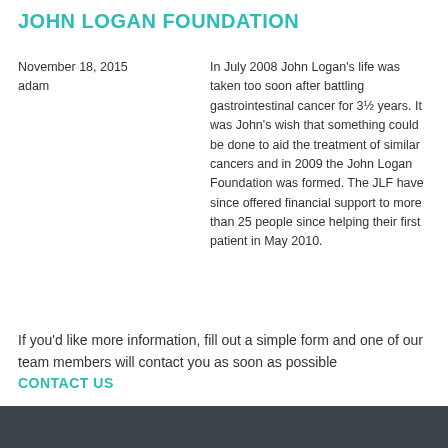JOHN LOGAN FOUNDATION
November 18, 2015
adam
In July 2008 John Logan's life was taken too soon after battling gastrointestinal cancer for 3½ years. It was John's wish that something could be done to aid the treatment of similar cancers and in 2009 the John Logan Foundation was formed. The JLF have since offered financial support to more than 25 people since helping their first patient in May 2010.
If you'd like more information, fill out a simple form and one of our team members will contact you as soon as possible
CONTACT US